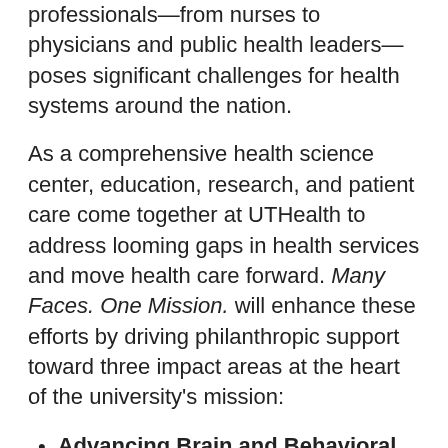professionals—from nurses to physicians and public health leaders—poses significant challenges for health systems around the nation.
As a comprehensive health science center, education, research, and patient care come together at UTHealth to address looming gaps in health services and move health care forward. Many Faces. One Mission. will enhance these efforts by driving philanthropic support toward three impact areas at the heart of the university's mission:
Advancing Brain and Behavioral Health. The campaign will establish UTHealth as a leader in brain and behavioral health, dedicated to developing better treatments and making mental health care accessible to all.
Training the Next Generation of Health...